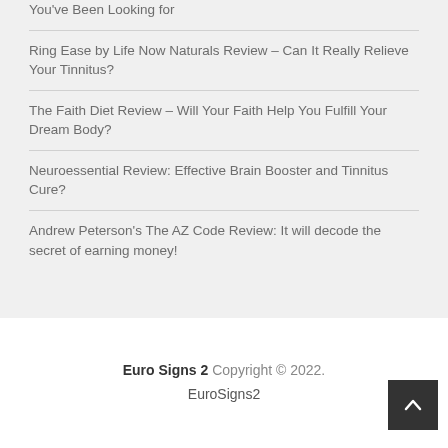You've Been Looking for
Ring Ease by Life Now Naturals Review – Can It Really Relieve Your Tinnitus?
The Faith Diet Review – Will Your Faith Help You Fulfill Your Dream Body?
Neuroessential Review: Effective Brain Booster and Tinnitus Cure?
Andrew Peterson's The AZ Code Review: It will decode the secret of earning money!
Euro Signs 2 Copyright © 2022. EuroSigns2